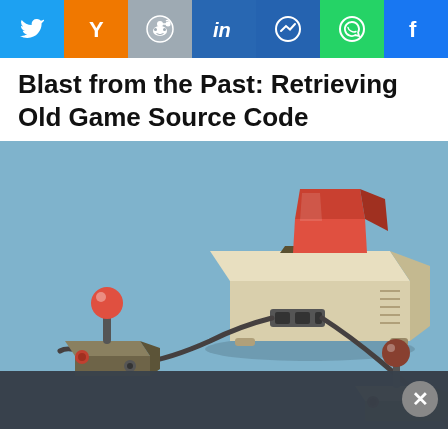Social sharing bar: Twitter, Yahoo, Reddit, LinkedIn, Messenger, WhatsApp, Facebook
Blast from the Past: Retrieving Old Game Source Code
[Figure (illustration): Illustration of a retro game console (cream/beige colored, isometric view) with a red cartridge inserted, connected via cables to two joystick controllers. The console sits on a light blue background. A second partially visible joystick appears at the bottom over a dark overlay bar with a close (X) button.]